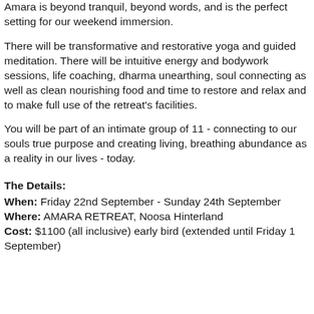Amara is beyond tranquil, beyond words, and is the perfect setting for our weekend immersion.
There will be transformative and restorative yoga and guided meditation. There will be intuitive energy and bodywork sessions, life coaching, dharma unearthing, soul connecting as well as clean nourishing food and time to restore and relax and to make full use of the retreat's facilities.
You will be part of an intimate group of 11 - connecting to our souls true purpose and creating living, breathing abundance as a reality in our lives - today.
The Details:
When: Friday 22nd September - Sunday 24th September
Where: AMARA RETREAT, Noosa Hinterland
Cost: $1100 (all inclusive) early bird (extended until Friday 1 September)